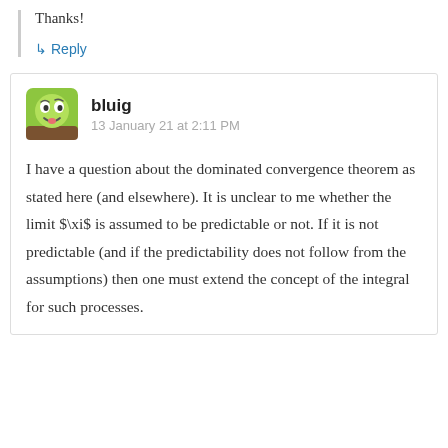Thanks!
↳ Reply
[Figure (illustration): Avatar of user bluig — green cartoon face icon]
bluig
13 January 21 at 2:11 PM
I have a question about the dominated convergence theorem as stated here (and elsewhere). It is unclear to me whether the limit $\xi$ is assumed to be predictable or not. If it is not predictable (and if the predictability does not follow from the assumptions) then one must extend the concept of the integral for such processes.